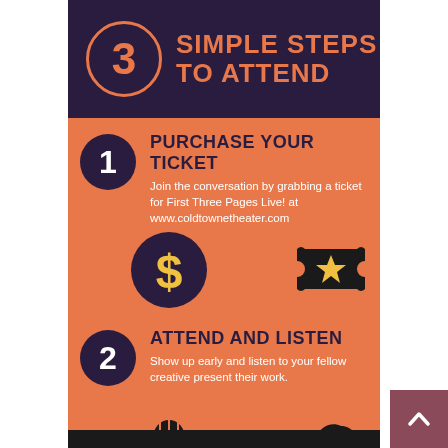3 SIMPLE STEPS TO ATTEND
1 PURCHASE YOUR TICKET
Join the conversation by grabbing a ticket for First Three Pages Live! at www.coldtownetheater.com
[Figure (infographic): Dollar sign coin icon and ticket with star icon on orange background]
2 ATTEND AND LISTEN
Show up early and listen to your fellow creative present their work.
[Figure (infographic): Microphone icon and ear with sound waves icon on orange background]